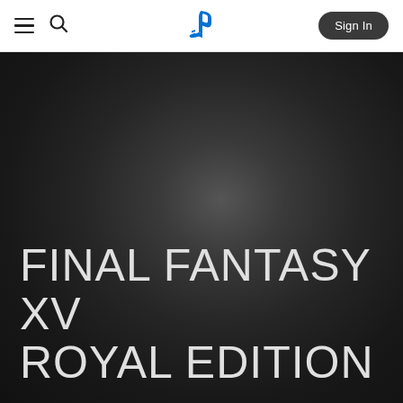PlayStation Store navigation bar with hamburger menu, search icon, PlayStation logo, and Sign In button
[Figure (screenshot): Dark hero banner area with radial gradient from dark gray center to near-black edges, representing the background art for Final Fantasy XV Royal Edition]
FINAL FANTASY XV ROYAL EDITION